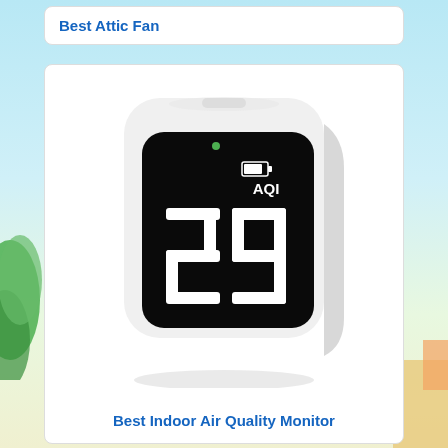Best Attic Fan
[Figure (photo): White air quality monitor device with black display showing AQI 29 and battery icon with green LED indicator]
Best Indoor Air Quality Monitor